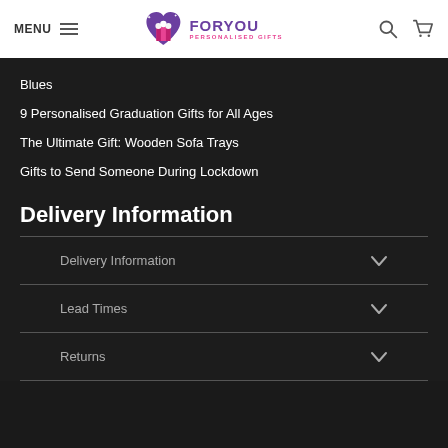MENU | FORYOU PERSONALISED GIFTS
Blues
9 Personalised Graduation Gifts for All Ages
The Ultimate Gift: Wooden Sofa Trays
Gifts to Send Someone During Lockdown
Delivery Information
Delivery Information
Lead Times
Returns